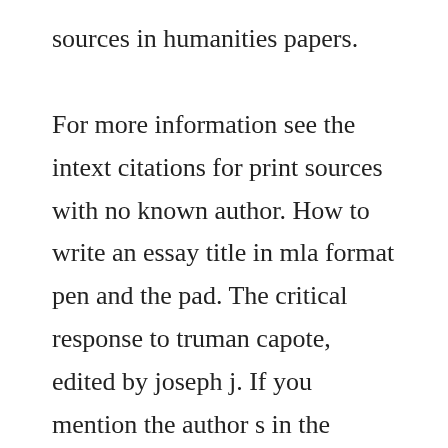sources in humanities papers. For more information see the intext citations for print sources with no known author. How to write an essay title in mla format pen and the pad. The critical response to truman capote, edited by joseph j. If you mention the author s in the sentence, just put the. Name of company that owns the product advertisement. If you use works published in the same year by the same author or author team, alphabetize the works, and add letters after the year to distinguish them. How do you